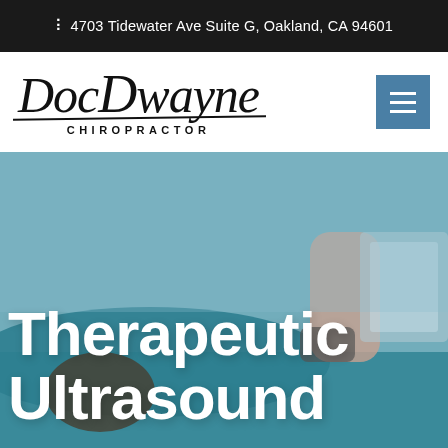📍 4703 Tidewater Ave Suite G, Oakland, CA 94601
[Figure (logo): Doc Dwayne Chiropractor logo in cursive script with underline and CHIROPRACTOR text below]
[Figure (photo): Chiropractor performing therapeutic ultrasound treatment on a patient lying face down, with large white bold text overlay reading Therapeutic Ultrasound]